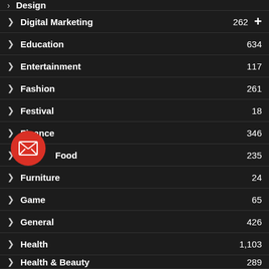Design (partial top)
Digital Marketing 262
Education 634
Entertainment 117
Fashion 261
Festival 18
Finance 346
Food 235
Furniture 24
Game 65
General 426
Health 1,103
Health & Beauty 289
Heating And Cooling 17
Home 439